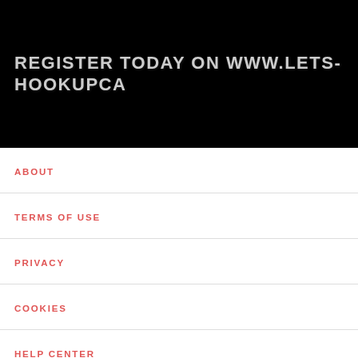REGISTER TODAY ON WWW.LETS-HOOKUPCA
ABOUT
TERMS OF USE
PRIVACY
COOKIES
HELP CENTER
CONTACTS